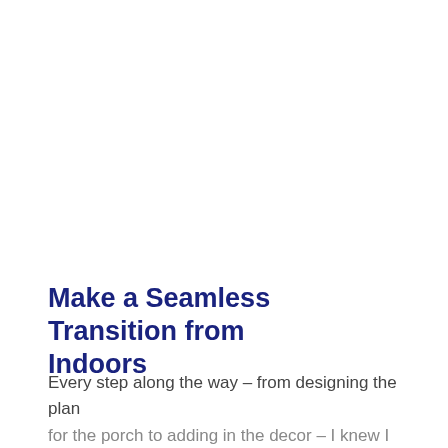Make a Seamless Transition from Indoors
Every step along the way – from designing the plan for the porch to adding in the decor – I knew I wanted a seamless transition from inside.  The porch opens off of both the master bedroom and the great room on ...